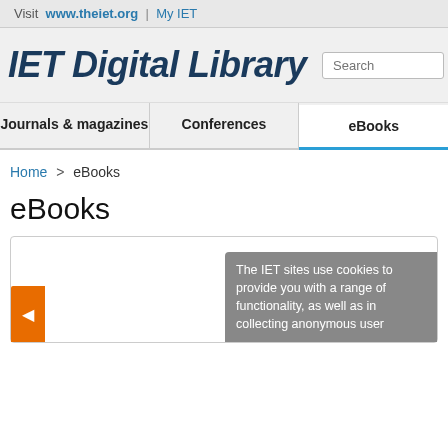Visit www.theiet.org | My IET
IET Digital Library
[Figure (screenshot): Navigation tabs: Journals & magazines, Conferences, eBooks (active)]
Home > eBooks
eBooks
The IET sites use cookies to provide you with a range of functionality, as well as in collecting anonymous user